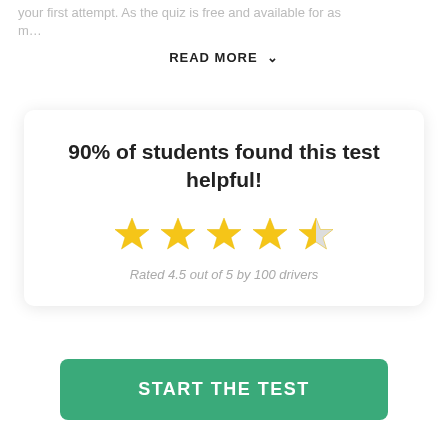your first attempt. As the quiz is free and available for as m…
READ MORE ∨
90% of students found this test helpful!
[Figure (other): 5 stars rating display showing 4 full gold stars and 1 half gold star]
Rated 4.5 out of 5 by 100 drivers
START THE TEST